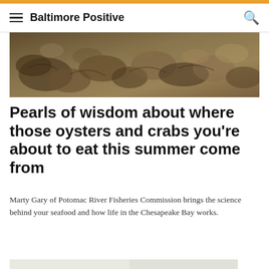Baltimore Positive
[Figure (photo): Close-up photo of oysters and crabs on a surface, earthy tones of brown and tan]
Pearls of wisdom about where those oysters and crabs you’re about to eat this summer come from
Marty Gary of Potomac River Fisheries Commission brings the science behind your seafood and how life in the Chesapeake Bay works.
[Figure (infographic): Advertisement banner: MOI logo with text PARTNERING TO CREATE INTELLIGENT SPACES WHERE PEOPLE WANT TO WORK LIVE STAY, green lettering on light background]